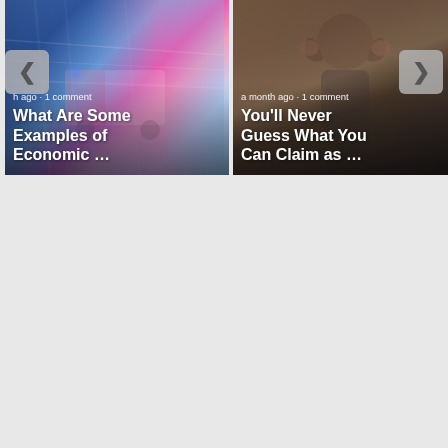[Figure (screenshot): Carousel of two article cards. Left card shows a blurred ambulance image with text 'What Are Some Examples of Economic …' and metadata 'h ago · 1 comment'. Right card shows a stressed person with text 'You'll Never Guess What You Can Claim as …' and metadata 'a month ago · 1 comment'. Left navigation arrow button visible on far left, right navigation arrow button visible on far right.]